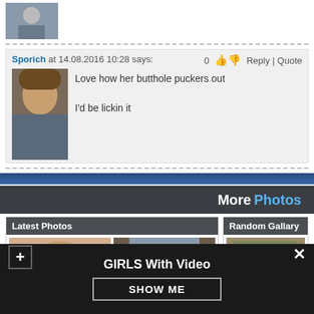[Figure (photo): User avatar photo at top of page]
Sporich at 14.08.2016 10:28 says:
0  Reply | Quote
[Figure (photo): Comment author avatar photo - man with brown hat]
Love how her butthole puckers out

I'd be lickin it
More Photos
Latest Photos
Random Gallary
[Figure (photo): Latest photo thumbnail 1 - skin colored]
[Figure (photo): Latest photo thumbnail 2]
[Figure (photo): Random gallery thumbnail]
Lesbian saphic erotica.
Free mature source.
Bikini gallery metallic.
GIRLS With Video
SHOW ME